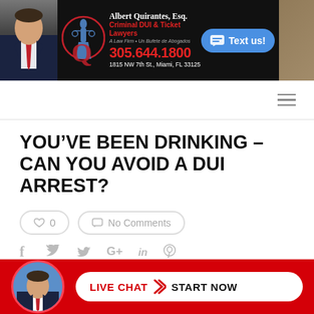[Figure (screenshot): Law firm header banner with lawyer photo, Q logo, firm name Albert Quirantes Esq., Criminal DUI & Ticket Lawyers, phone 305.644.1800, address 1815 NW 7th St., Miami, FL 33125, and blue Text us! button]
[Figure (infographic): Navigation bar with hamburger menu icon]
YOU'VE BEEN DRINKING – CAN YOU AVOID A DUI ARREST?
[Figure (infographic): Like button showing 0 likes and No Comments button]
[Figure (infographic): Social share icons: Facebook, Twitter, Google+, LinkedIn, Pinterest]
[Figure (infographic): Red live chat bar at bottom with attorney avatar and LIVE CHAT > START NOW button]